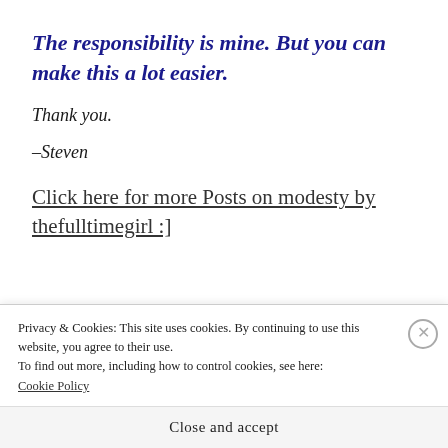The responsibility is mine. But you can make this a lot easier.
Thank you.
–Steven
Click here for more Posts on modesty by thefulltimegirl :]
Privacy & Cookies: This site uses cookies. By continuing to use this website, you agree to their use.
To find out more, including how to control cookies, see here: Cookie Policy
Close and accept